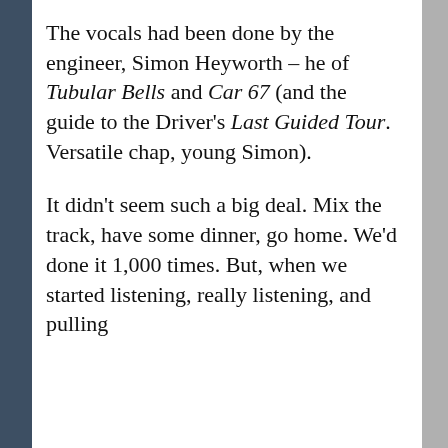The vocals had been done by the engineer, Simon Heyworth – he of Tubular Bells and Car 67 (and the guide to the Driver's Last Guided Tour. Versatile chap, young Simon).

It didn't seem such a big deal. Mix the track, have some dinner, go home. We'd done it 1,000 times. But, when we started listening, really listening, and pulling